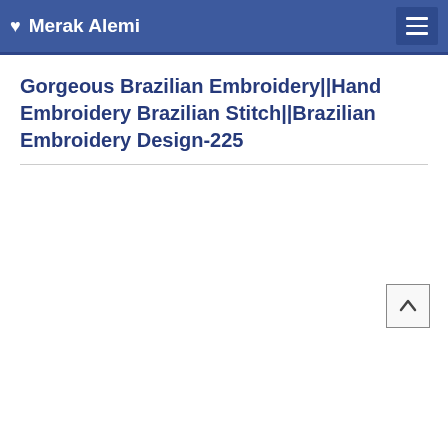♥ Merak Alemi
Gorgeous Brazilian Embroidery||Hand Embroidery Brazilian Stitch||Brazilian Embroidery Design-225